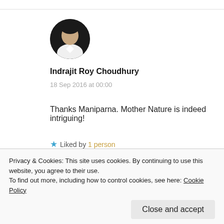[Figure (photo): Circular avatar photo of a man in a white shirt against a dark background]
Indrajit Roy Choudhury
18 Sep 2016 at 00:00
Thanks Maniparna. Mother Nature is indeed intriguing!
★ Liked by 1 person
Reply
Privacy & Cookies: This site uses cookies. By continuing to use this website, you agree to their use.
To find out more, including how to control cookies, see here: Cookie Policy
Close and accept